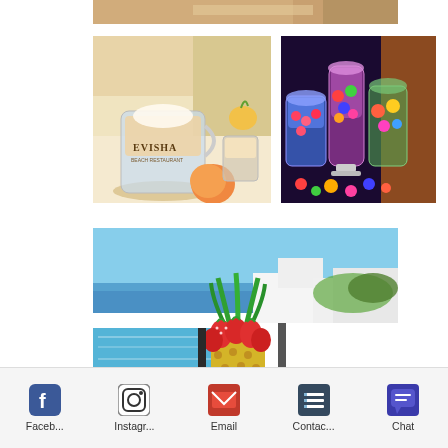[Figure (photo): Partial top view of a table or food item, cropped]
[Figure (photo): Evisha branded glass pitcher with iced drink and peach fruit on a table]
[Figure (photo): Colorful candy/dessert display with glass jars and vibrant candy arrangements]
[Figure (photo): Fruit arrangement with strawberries on pineapple at a resort pool with ocean view]
Faceb...  Instagr...  Email  Contac...  Chat